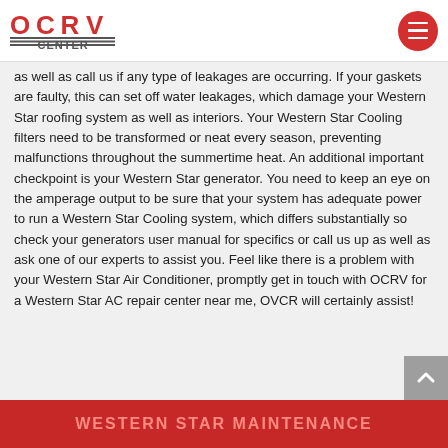OCRV CENTER (logo with menu button)
as well as call us if any type of leakages are occurring. If your gaskets are faulty, this can set off water leakages, which damage your Western Star roofing system as well as interiors. Your Western Star Cooling filters need to be transformed or neat every season, preventing malfunctions throughout the summertime heat. An additional important checkpoint is your Western Star generator. You need to keep an eye on the amperage output to be sure that your system has adequate power to run a Western Star Cooling system, which differs substantially so check your generators user manual for specifics or call us up as well as ask one of our experts to assist you. Feel like there is a problem with your Western Star Air Conditioner, promptly get in touch with OCRV for a Western Star AC repair center near me, OVCR will certainly assist!
WESTERN STAR MAINTENANCE